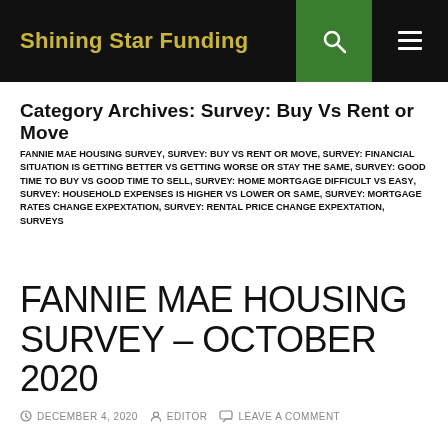Shining Star Funding
Category Archives: Survey: Buy Vs Rent or Move
FANNIE MAE HOUSING SURVEY, SURVEY: BUY VS RENT OR MOVE, SURVEY: FINANCIAL SITUATION IS GETTING BETTER VS GETTING WORSE OR STAY THE SAME, SURVEY: GOOD TIME TO BUY VS GOOD TIME TO SELL, SURVEY: HOME MORTGAGE DIFFICULT VS EASY, SURVEY: HOUSEHOLD EXPENSES IS HIGHER VS LOWER OR SAME, SURVEY: MORTGAGE RATES CHANGE EXPEXTATION, SURVEY: RENTAL PRICE CHANGE EXPEXTATION, SURVEYS
FANNIE MAE HOUSING SURVEY – OCTOBER 2020
DECEMBER 4, 2020   EDITOR   LEAVE A COMMENT